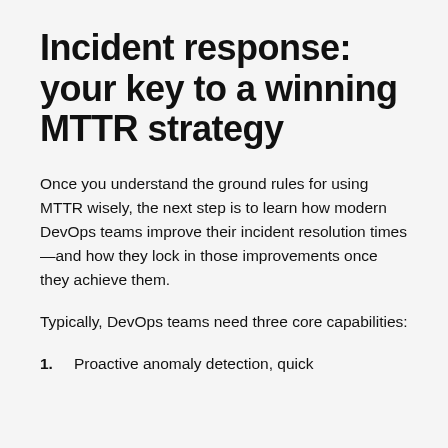Incident response: your key to a winning MTTR strategy
Once you understand the ground rules for using MTTR wisely, the next step is to learn how modern DevOps teams improve their incident resolution times—and how they lock in those improvements once they achieve them.
Typically, DevOps teams need three core capabilities:
1. Proactive anomaly detection, quick